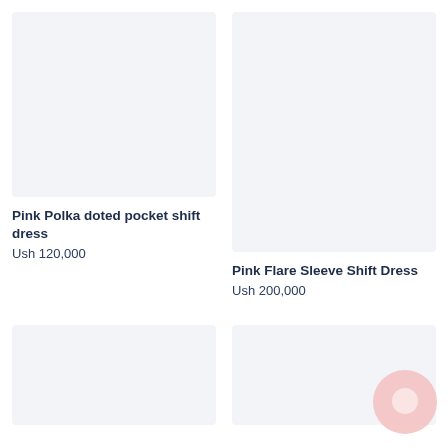[Figure (photo): Product image placeholder for Pink Polka doted pocket shift dress - light gray/blue background]
[Figure (photo): Product image placeholder for Pink Flare Sleeve Shift Dress - light gray/blue background]
Pink Polka doted pocket shift dress
Ush 120,000
Pink Flare Sleeve Shift Dress
Ush 200,000
[Figure (photo): Product image placeholder bottom left - light gray/blue background]
[Figure (illustration): Bottom right card with pink chat bubble icon overlay]